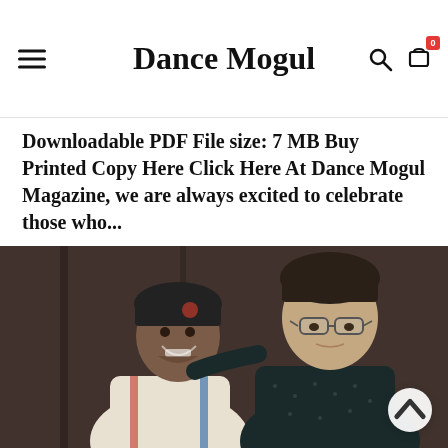Dance Mogul
Downloadable PDF File size: 7 MB Buy Printed Copy Here Click Here At Dance Mogul Magazine, we are always excited to celebrate those who...
[Figure (photo): Two men posing together for a photo. The man on the left is wearing a black beanie hat and a basketball jersey, smiling broadly. The man on the right is wearing glasses and a dark shirt.]